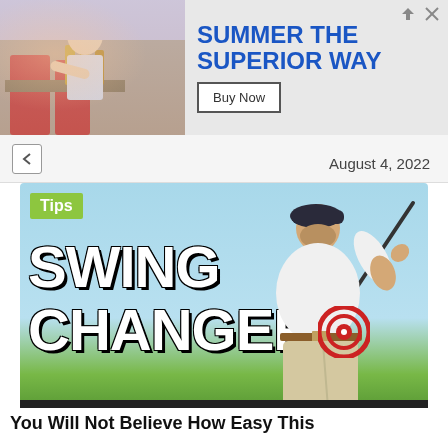[Figure (photo): Advertisement banner showing people at a table with drinks on the left, and 'SUMMER THE SUPERIOR WAY' text with 'Buy Now' button on the right]
August 4, 2022
[Figure (photo): Golf swing instruction thumbnail image with 'Tips' badge, text 'SWING CHANGER', a golfer mid-swing with a target circle on his hip area, blue sky and green grass background]
You Will Not Believe How Easy This